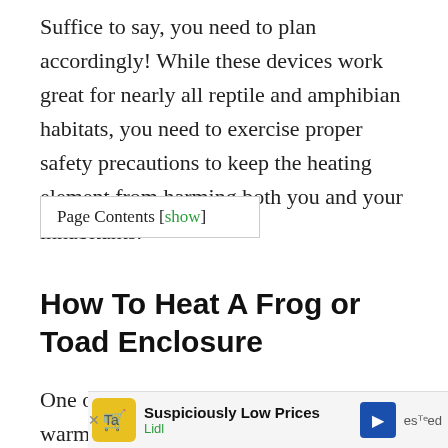Suffice to say, you need to plan accordingly! While these devices work great for nearly all reptile and amphibian habitats, you need to exercise proper safety precautions to keep the heating element from harming both you and your inhabitants.
Page Contents [show]
How To Heat A Frog or Toad Enclosure
One of the most popular methods of warming a frog's enclosure is by using a "UTH" or Under
[Figure (other): Advertisement banner for Lidl showing 'Suspiciously Low Prices' with Lidl logo and navigation arrow, overlaying the bottom of the page content.]